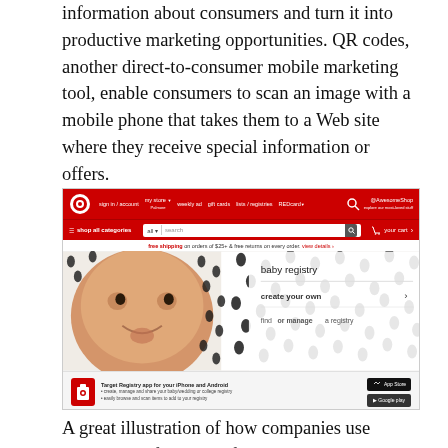information about consumers and turn it into productive marketing opportunities. QR codes, another direct-to-consumer mobile marketing tool, enable consumers to scan an image with a mobile phone that takes them to a Web site where they receive special information or offers.
[Figure (screenshot): Target.com website screenshot showing the Target homepage with red navigation bar, search bar, and a baby registry promotional banner featuring a smiling baby on a polka-dot background with options to create or find a registry, and a Target Registry app download section.]
A great illustration of how companies use consumer information for direct marketing purposes comes from a